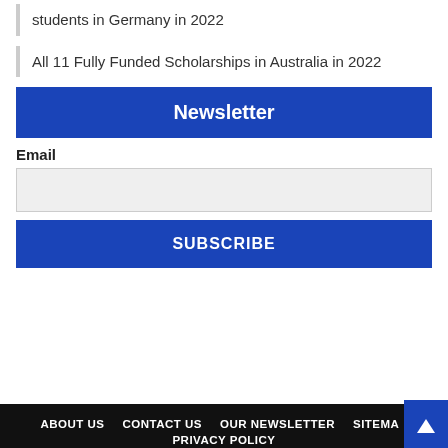students in Germany in 2022
All 11 Fully Funded Scholarships in Australia in 2022
Newsletter
Email
SUBSCRIBE
ABOUT US   CONTACT US   OUR NEWSLETTER   SITEMAP   PRIVACY POLICY